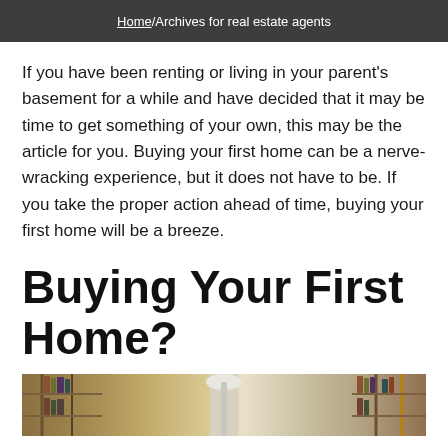Home/Archives for real estate agents
If you have been renting or living in your parent's basement for a while and have decided that it may be time to get something of your own, this may be the article for you. Buying your first home can be a nerve-wracking experience, but it does not have to be. If you take the proper action ahead of time, buying your first home will be a breeze.
Buying Your First Home?
[Figure (photo): Interior photo showing a room with bookshelves and a lamp, partially visible at the bottom of the page]